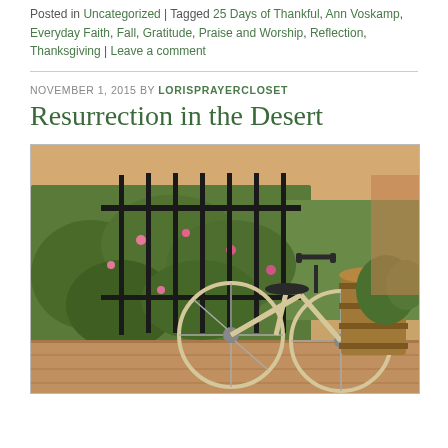Posted in Uncategorized | Tagged 25 Days of Thankful, Ann Voskamp, Everyday Faith, Fall, Gratitude, Praise and Worship, Reflection, Thanksgiving | Leave a comment
NOVEMBER 1, 2015 BY LORISPRAYERCLOSET
Resurrection in the Desert
[Figure (photo): A tan/cream colored bicycle leaned against black iron fence with green vines and pink flowers, a wooden barrel visible to the right, brick paving below, desert-style outdoor setting]